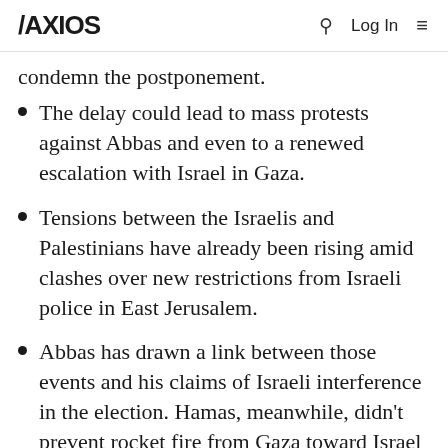AXIOS
condemn the postponement.
The delay could lead to mass protests against Abbas and even to a renewed escalation with Israel in Gaza.
Tensions between the Israelis and Palestinians have already been rising amid clashes over new restrictions from Israeli police in East Jerusalem.
Abbas has drawn a link between those events and his claims of Israeli interference in the election. Hamas, meanwhile, didn't prevent rocket fire from Gaza toward Israel to show solidarity with the Palestinians in